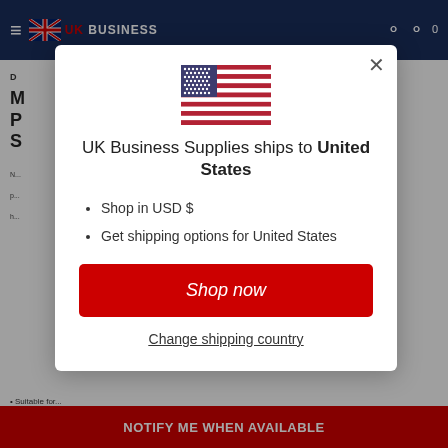UK BUSINESS
[Figure (illustration): US flag icon displayed in the modal dialog]
UK Business Supplies ships to United States
Shop in USD $
Get shipping options for United States
Shop now
Change shipping country
NOTIFY ME WHEN AVAILABLE